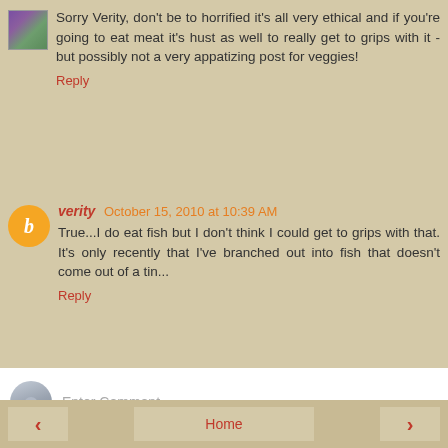[Figure (photo): Small thumbnail photo of flowers (purple/pink), used as avatar]
Sorry Verity, don't be to horrified it's all very ethical and if you're going to eat meat it's hust as well to really get to grips with it - but possibly not a very appatizing post for veggies!
Reply
[Figure (illustration): Orange circle avatar with white Blogger 'b' icon]
verity October 15, 2010 at 10:39 AM
True...I do eat fish but I don't think I could get to grips with that. It's only recently that I've branched out into fish that doesn't come out of a tin...
Reply
Enter Comment
‹
Home
›